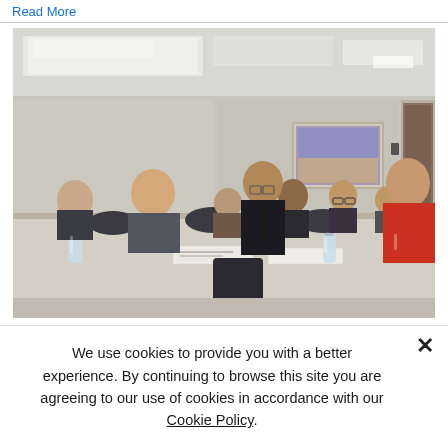Read More
[Figure (photo): A conference room meeting scene with multiple professionals in business attire seated around a table. Several water bottles and name placards are visible on the table. A framed picture hangs on the wall in the background.]
We use cookies to provide you with a better experience. By continuing to browse this site you are agreeing to our use of cookies in accordance with our Cookie Policy.